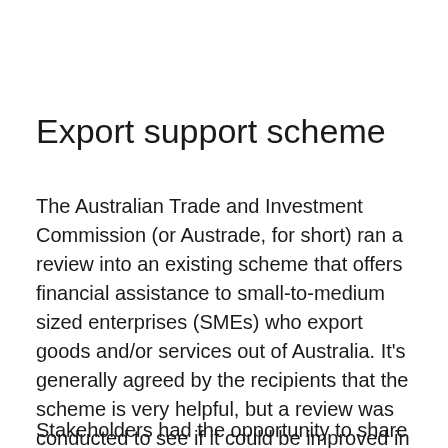Export support scheme
The Australian Trade and Investment Commission (or Austrade, for short) ran a review into an existing scheme that offers financial assistance to small-to-medium sized enterprises (SMEs) who export goods and/or services out of Australia. It’s generally agreed by the recipients that the scheme is very helpful, but a review was conducted to see if it could be improved in any way.
Stakeholders had the opportunity to share their